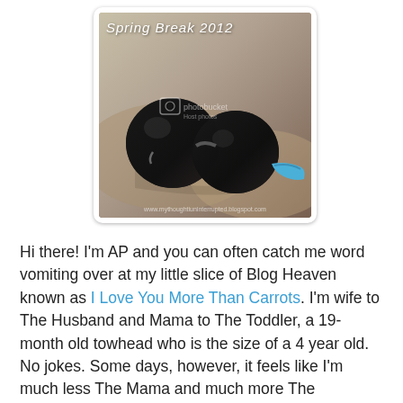[Figure (photo): Photo of sunglasses lying on a sandy surface with a blue arm/temple visible. Text overlay reads 'Spring Break 2012' in cursive white font at top left. Photobucket watermark in center. URL watermark at bottom.]
Hi there! I'm AP and you can often catch me word vomiting over at my little slice of Blog Heaven known as I Love You More Than Carrots. I'm wife to The Husband and Mama to The Toddler, a 19-month old towhead who is the size of a 4 year old. No jokes. Some days, however, it feels like I'm much less The Mama and much more The Employee of The Toddler Slave Driver.